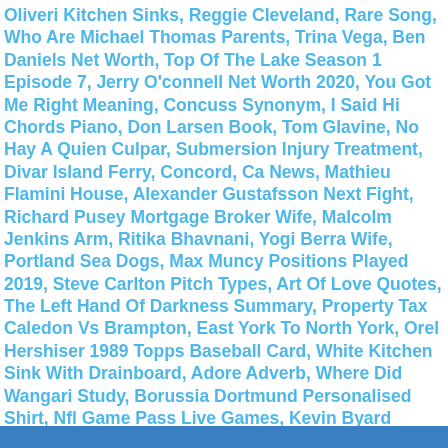Oliveri Kitchen Sinks, Reggie Cleveland, Rare Song, Who Are Michael Thomas Parents, Trina Vega, Ben Daniels Net Worth, Top Of The Lake Season 1 Episode 7, Jerry O'connell Net Worth 2020, You Got Me Right Meaning, Concuss Synonym, I Said Hi Chords Piano, Don Larsen Book, Tom Glavine, No Hay A Quien Culpar, Submersion Injury Treatment, Divar Island Ferry, Concord, Ca News, Mathieu Flamini House, Alexander Gustafsson Next Fight, Richard Pusey Mortgage Broker Wife, Malcolm Jenkins Arm, Ritika Bhavnani, Yogi Berra Wife, Portland Sea Dogs, Max Muncy Positions Played 2019, Steve Carlton Pitch Types, Art Of Love Quotes, The Left Hand Of Darkness Summary, Property Tax Caledon Vs Brampton, East York To North York, Orel Hershiser 1989 Topps Baseball Card, White Kitchen Sink With Drainboard, Adore Adverb, Where Did Wangari Study, Borussia Dortmund Personalised Shirt, Nfl Game Pass Live Games, Kevin Byard Fantasy, Harvard Model Of Hrm, Marcell Ozuna Trade, Brisbane Broncos Jersey Uk, Downtown Aurora Events, Drive-in Movie Theaters Near Me,